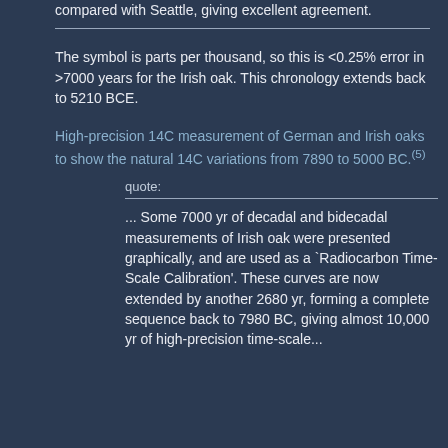compared with Seattle, giving excellent agreement.
The symbol is parts per thousand, so this is <0.25% error in >7000 years for the Irish oak. This chronology extends back to 5210 BCE.
High-precision 14C measurement of German and Irish oaks to show the natural 14C variations from 7890 to 5000 BC.(5)
quote:
... Some 7000 yr of decadal and bidecadal measurements of Irish oak were presented graphically, and are used as a `Radiocarbon Time-Scale Calibration'. These curves are now extended by another 2680 yr, forming a complete sequence back to 7980 BC, giving almost 10,000 yr of high-precision time-scale...